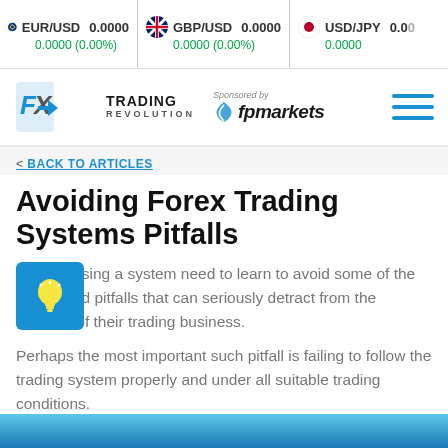EUR/USD 0.0000 0.0000 (0.00%) | GBP/USD 0.0000 0.0000 (0.00%) | USD/JPY 0.00 0.0000
[Figure (logo): FX Trading Revolution logo with Sponsored by fpmarkets branding and hamburger menu]
< BACK TO ARTICLES
Avoiding Forex Trading Systems Pitfalls
Traders using a system need to learn to avoid some of the associated pitfalls that can seriously detract from the success of their trading business.
Perhaps the most important such pitfall is failing to follow the trading system properly and under all suitable trading conditions.